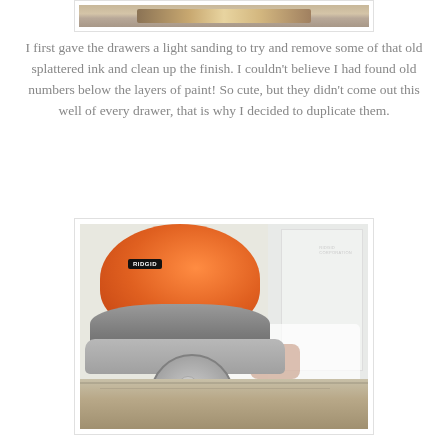[Figure (photo): Top portion of a photo showing paint brushes or tools with wooden handles against a light background]
I first gave the drawers a light sanding to try and remove some of that old splattered ink and clean up the finish. I couldn't believe I had found old numbers below the layers of paint! So cute, but they didn't come out this well of every drawer, that is why I decided to duplicate them.
[Figure (photo): A RIDGID brand orange orbital sander being used on a wooden drawer surface that has white paint and rust stains, with a white wall in the background]